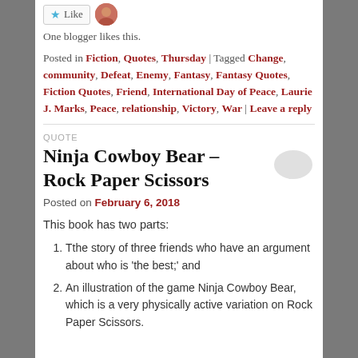[Figure (other): Like button with star icon and user avatar thumbnail]
One blogger likes this.
Posted in Fiction, Quotes, Thursday | Tagged Change, community, Defeat, Enemy, Fantasy, Fantasy Quotes, Fiction Quotes, Friend, International Day of Peace, Laurie J. Marks, Peace, relationship, Victory, War | Leave a reply
QUOTE
Ninja Cowboy Bear – Rock Paper Scissors
Posted on February 6, 2018
This book has two parts:
Tthe story of three friends who have an argument about who is 'the best;' and
An illustration of the game Ninja Cowboy Bear, which is a very physically active variation on Rock Paper Scissors.